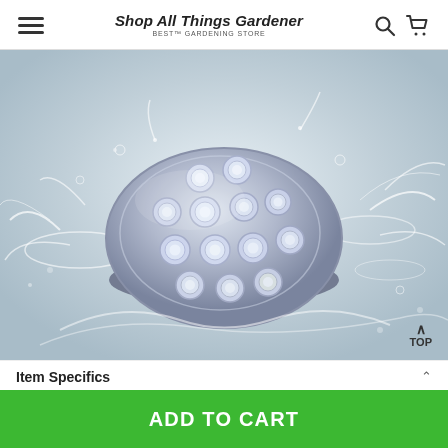Shop All Things Gardener — BEST™ GARDENING STORE
[Figure (photo): A submersible LED light puck with multiple circular LED lenses, splashing in water against a white/silver background with water droplets and splashes around it.]
Item Specifics
ADD TO CART